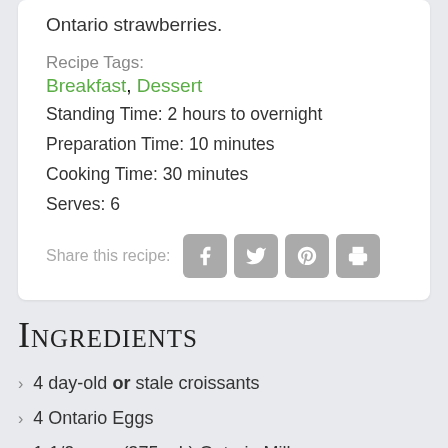Ontario strawberries.
Recipe Tags:
Breakfast, Dessert
Standing Time: 2 hours to overnight
Preparation Time: 10 minutes
Cooking Time: 30 minutes
Serves: 6
Share this recipe:
Ingredients
4 day-old or stale croissants
4 Ontario Eggs
1-1/2 cups (375 mL) Ontario Milk
2 tbsp (25 mL) granulated sugar